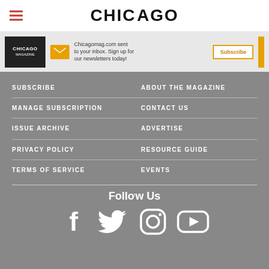CHICAGO
[Figure (screenshot): Ad banner: Chicago Magazine image, envelope icon, text 'Chicagomag.com sent to your inbox. Sign up for our newsletters today!', Subscribe button, yellow bar]
SUBSCRIBE
ABOUT THE MAGAZINE
MANAGE SUBSCRIPTION
CONTACT US
ISSUE ARCHIVE
ADVERTISE
PRIVACY POLICY
RESOURCE GUIDE
TERMS OF SERVICE
EVENTS
Follow Us
[Figure (infographic): Social media icons: Facebook, Twitter, Instagram, YouTube]